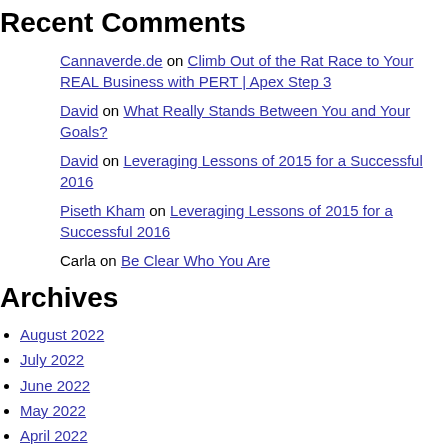Recent Comments
Cannaverde.de on Climb Out of the Rat Race to Your REAL Business with PERT | Apex Step 3
David on What Really Stands Between You and Your Goals?
David on Leveraging Lessons of 2015 for a Successful 2016
Piseth Kham on Leveraging Lessons of 2015 for a Successful 2016
Carla on Be Clear Who You Are
Archives
August 2022
July 2022
June 2022
May 2022
April 2022
March 2022
February 2022
January 2022
December 2021